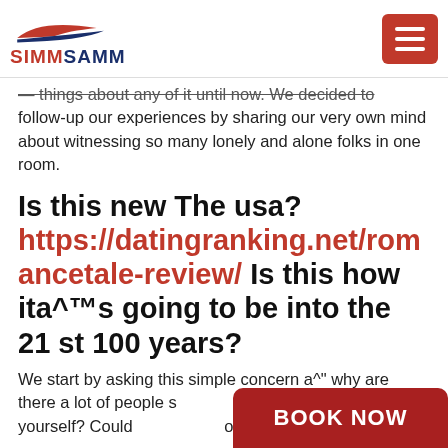SIMMSAMM
things about any of it until now. We decided to follow-up our experiences by sharing our very own mind about witnessing so many lonely and alone folks in one room.
Is this new The usa? https://datingranking.net/romancetale-review/ Is this how ita^™s going to be into the 21 st 100 years?
We start by asking this simple concern a^" why are there a lot of people spending this period by yourself? Could ... of our